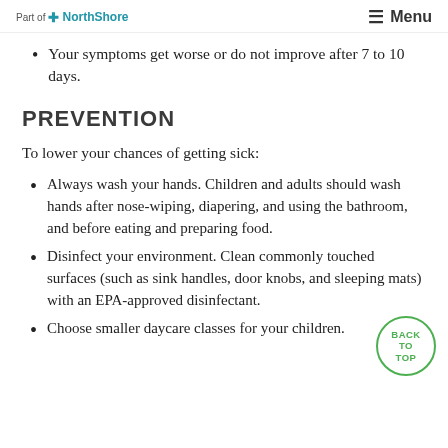Part of NorthShore | Menu
Your symptoms get worse or do not improve after 7 to 10 days.
PREVENTION
To lower your chances of getting sick:
Always wash your hands. Children and adults should wash hands after nose-wiping, diapering, and using the bathroom, and before eating and preparing food.
Disinfect your environment. Clean commonly touched surfaces (such as sink handles, door knobs, and sleeping mats) with an EPA-approved disinfectant.
Choose smaller daycare classes for your children.